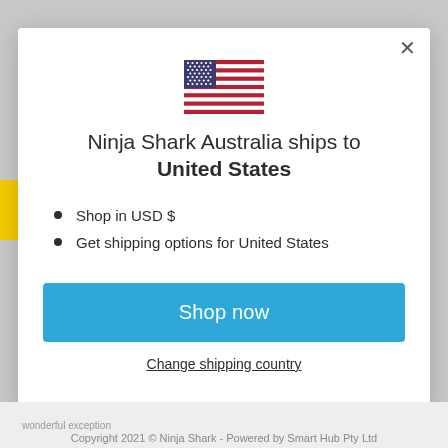[Figure (screenshot): Modal dialog on a website showing shipping destination. Contains a US flag SVG, title text, bullet points, a shop now button, and a change shipping country link.]
Ninja Shark Australia ships to United States
Shop in USD $
Get shipping options for United States
Shop now
Change shipping country
wonderful exception
Copyright 2021 © Ninja Shark - Powered by Smart Hub Pty Ltd